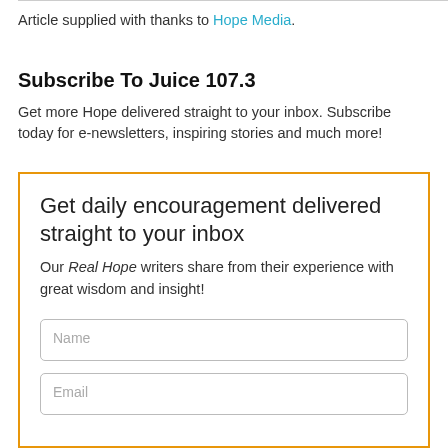Article supplied with thanks to Hope Media.
Subscribe To Juice 107.3
Get more Hope delivered straight to your inbox. Subscribe today for e-newsletters, inspiring stories and much more!
Get daily encouragement delivered straight to your inbox
Our Real Hope writers share from their experience with great wisdom and insight!
Name
Email